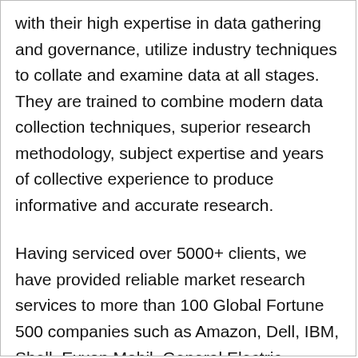with their high expertise in data gathering and governance, utilize industry techniques to collate and examine data at all stages. They are trained to combine modern data collection techniques, superior research methodology, subject expertise and years of collective experience to produce informative and accurate research.
Having serviced over 5000+ clients, we have provided reliable market research services to more than 100 Global Fortune 500 companies such as Amazon, Dell, IBM, Shell, Exxon Mobil, General Electric, Siemens, Microsoft, Sony and Hitachi. We have co-consulted with some of the world's leading consulting firms like McKinsey & Company, Boston Consulting Group, Bain and Company for custom